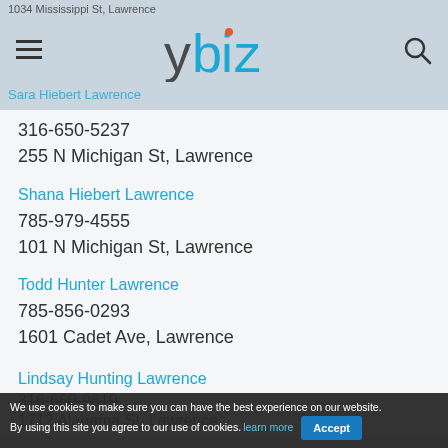1034 Mississippi St, Lawrence
[Figure (logo): ybiz logo with hamburger menu and search icon]
Sara Hiebert Lawrence
316-650-5237
255 N Michigan St, Lawrence
Shana Hiebert Lawrence
785-979-4555
101 N Michigan St, Lawrence
Todd Hunter Lawrence
785-856-0293
1601 Cadet Ave, Lawrence
Lindsay Hunting Lawrence
316-650-9619
1712 Alabama St, Lawrence
We use cookies to make sure you can have the best experience on our website. By using this site you agree to our use of cookies. learn more Accept